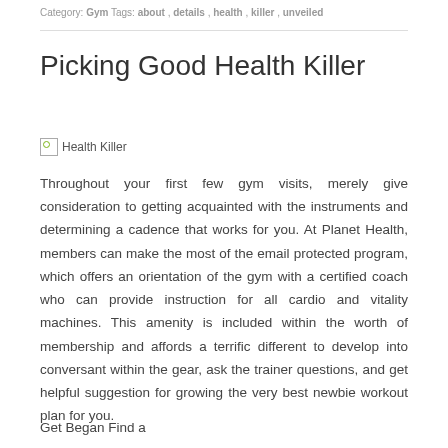Category: Gym Tags: about, details, health, killer, unveiled
Picking Good Health Killer
[Figure (photo): Broken image placeholder labeled 'Health Killer']
Throughout your first few gym visits, merely give consideration to getting acquainted with the instruments and determining a cadence that works for you. At Planet Health, members can make the most of the email protected program, which offers an orientation of the gym with a certified coach who can provide instruction for all cardio and vitality machines. This amenity is included within the worth of membership and affords a terrific different to develop into conversant within the gear, ask the trainer questions, and get helpful suggestion for growing the very best newbie workout plan for you.
Get Began Find a